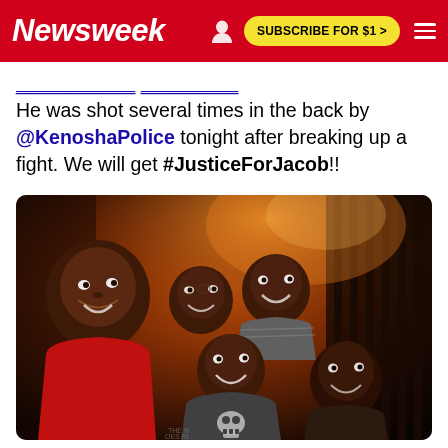Newsweek  SUBSCRIBE FOR $1 >
He was shot several times in the back by @KenoshaPolice tonight after breaking up a fight. We will get #JusticeForJacob!!
[Figure (photo): A selfie photo showing a group of five people — an adult and four young children — smiling together outdoors at night with warm orange/red lighting in the background.]